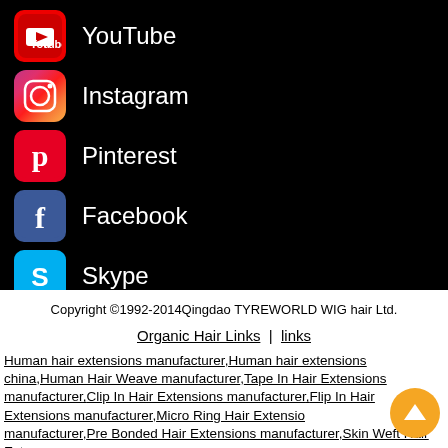YouTube
Instagram
Pinterest
Facebook
Skype
WE LOVE OUR FANS, TAG US ON INSTAGRAM #ORGANICHAIREXTENSIONS
Copyright ©1992-2014Qingdao TYREWORLD WIG hair Ltd.
Organic Hair Links  |  links
Human hair extensions manufacturer,Human hair extensions china,Human Hair Weave manufacturer,Tape In Hair Extensions manufacturer,Clip In Hair Extensions manufacturer,Flip In Hair Extensions manufacturer,Micro Ring Hair Extensions manufacturer,Pre Bonded Hair Extensions manufacturer,Skin Weft Hair Extensions manufacturer,Hand Tied Weft manufacturer,Hair Bulk manufacturer, Mink lashes,hair extensions suppliers,clip in hair extensions,Hair extensions